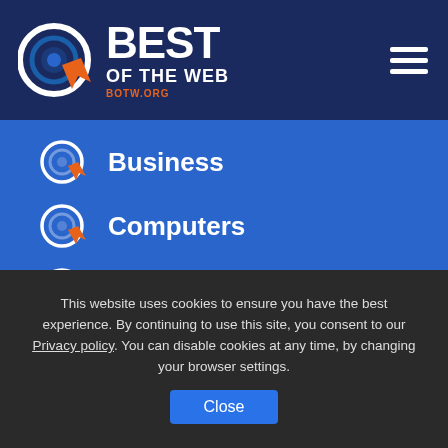Best of the Web - BOTW.ORG
Business
Computers
Health
This website uses cookies to ensure you have the best experience. By continuing to use this site, you consent to our Privacy policy. You can disable cookies at any time, by changing your browser settings.
Close